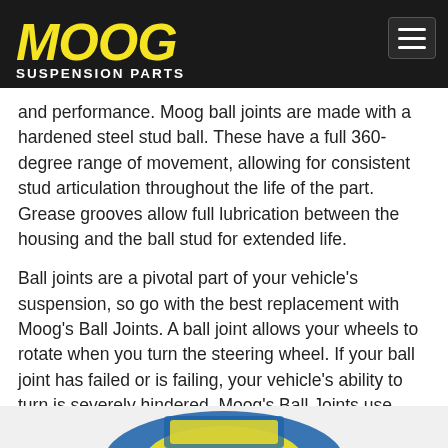[Figure (logo): MOOG Suspension Parts logo in yellow italic bold text on dark/black background header bar, with hamburger menu icon in top right]
and performance. Moog ball joints are made with a hardened steel stud ball. These have a full 360-degree range of movement, allowing for consistent stud articulation throughout the life of the part. Grease grooves allow full lubrication between the housing and the ball stud for extended life.
Ball joints are a pivotal part of your vehicle's suspension, so go with the best replacement with Moog's Ball Joints. A ball joint allows your wheels to rotate when you turn the steering wheel. If your ball joint has failed or is failing, your vehicle's ability to turn is severely hindered. Moog's Ball Joints use innovated designs to maximize the performance and durability of your suspension.
[Figure (photo): Partial view of a Moog product box visible at the bottom of the page, blue and yellow packaging]